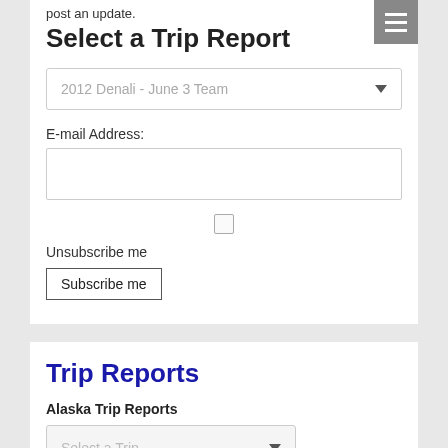post an update.
Select a Trip Report
2012 Denali - June 3 Team
E-mail Address:
Unsubscribe me
Subscribe me
Trip Reports
Alaska Trip Reports
Select a Trip
Everest Trip Reports